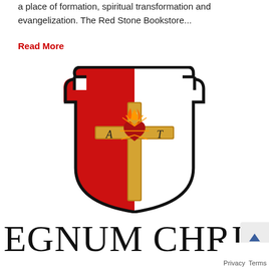a place of formation, spiritual transformation and evangelization. The Red Stone Bookstore...
Read More
[Figure (logo): Regnum Christi shield logo with a wooden cross, sacred heart with flame, letters R, A, T. Left half of shield is red, right half is white, black border.]
EGNUM CHRIS